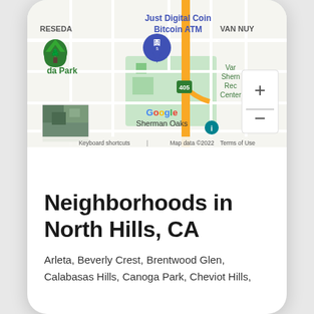[Figure (map): Google Maps screenshot showing North Hills, CA area with labels: Just Digital Coin Bitcoin ATM, RESEDA, da Park, VAN NUYS, 405 freeway, Var Shern Rec Center, Sherman Oaks, Google logo, Keyboard shortcuts, Map data ©2022, Terms of Use. Zoom controls (+/-) visible on right side. Small satellite image thumbnail bottom left.]
Neighborhoods in North Hills, CA
Arleta, Beverly Crest, Brentwood Glen, Calabasas Hills, Canoga Park, Cheviot Hills,